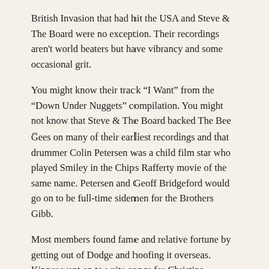British Invasion that had hit the USA and Steve & The Board were no exception. Their recordings aren't world beaters but have vibrancy and some occasional grit.
You might know their track “I Want” from the “Down Under Nuggets” compilation. You might not know that Steve & The Board backed The Bee Gees on many of their earliest recordings and that drummer Colin Petersen was a child film star who played Smiley in the Chips Rafferty movie of the same name. Petersen and Geoff Bridgeford would go on to be full-time sidemen for the Brothers Gibb.
Most members found fame and relative fortune by getting out of Dodge and hoofing it overseas. Kipner went on to write songs for Christina Aguilera and Olivia Newton-John while bandmate Carl Keats did the same for Status Quo and Ringo Starr.
Steve & The Board might go down as the first Aussie band to suffer the slings and arrows of being accused by their peers of not paying their dues, thanks to singer Steve Kipner being the son of A&R man/mover and shaker Nat Kipner. As the voluminous liner notes point out, that’s far from being fair comment. Although Dad undoubtedly opened doors. The